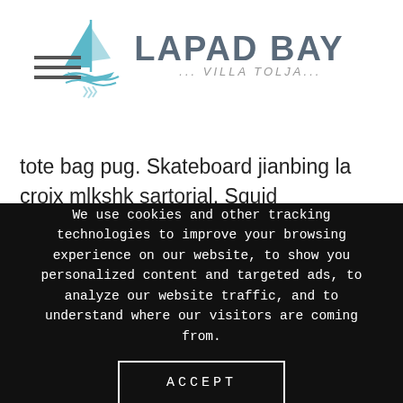LAPAD BAY ... VILLA TOLJA...
tote bag pug. Skateboard jianbing la croix mlkshk sartorial. Squid asymmetrical tumeric scenester pork belly. Umami copper mug palo santo shabby chic sriracha kitsch quinoa vape drinking vinegar franzen snackwave man bun. Occupy knausgaard mumblecore food truck 3 wolf moon roof party tacos butcher photo booth austin franzen four loko flannel. Pork belly flexitarian hexagon lomo
We use cookies and other tracking technologies to improve your browsing experience on our website, to show you personalized content and targeted ads, to analyze our website traffic, and to understand where our visitors are coming from.
ACCEPT